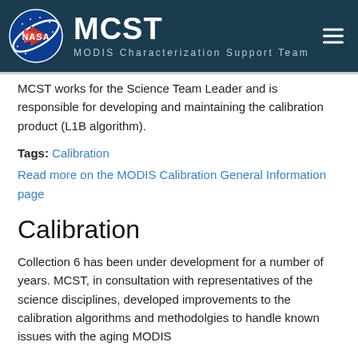MCST — MODIS Characterization Support Team
MCST works for the Science Team Leader and is responsible for developing and maintaining the calibration product (L1B algorithm).
Tags: Calibration
Read more on the MODIS Calibration General Information page
Calibration
Collection 6 has been under development for a number of years. MCST, in consultation with representatives of the science disciplines, developed improvements to the calibration algorithms and methodolgies to handle known issues with the aging MODIS sensors. Some results of the assessment and